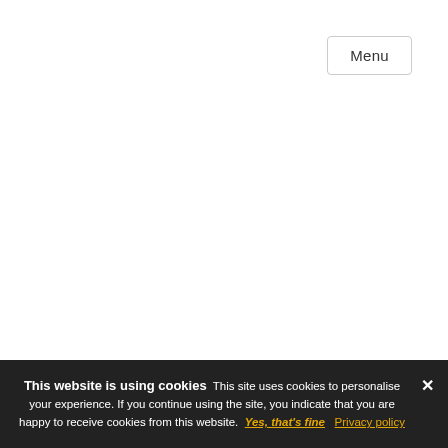Menu
This website is using cookies This site uses cookies to personalise your experience. If you continue using the site, you indicate that you are happy to receive cookies from this website. Yes, that's fine  Privacy policy